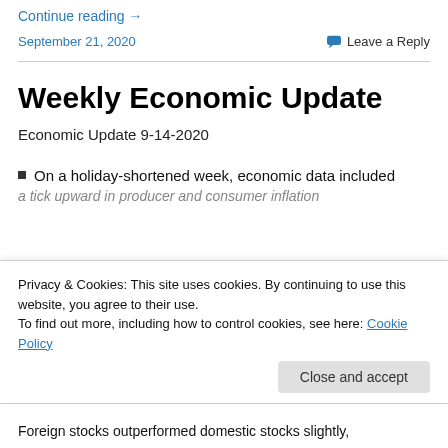Continue reading →
September 21, 2020   💬 Leave a Reply
Weekly Economic Update
Economic Update 9-14-2020
On a holiday-shortened week, economic data included a tick upward in producer and consumer inflation
Privacy & Cookies: This site uses cookies. By continuing to use this website, you agree to their use. To find out more, including how to control cookies, see here: Cookie Policy
Foreign stocks outperformed domestic stocks slightly,